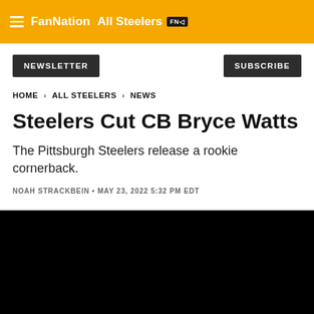FanNation All Steelers FN
NEWSLETTER
SUBSCRIBE
HOME > ALL STEELERS > NEWS
Steelers Cut CB Bryce Watts
The Pittsburgh Steelers release a rookie cornerback.
NOAH STRACKBEIN • MAY 23, 2022 5:32 PM EDT
[Figure (photo): Black image/photo area at the bottom of the page]